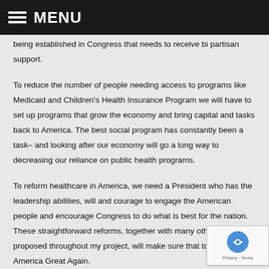MENU
being established in Congress that needs to receive bi partisan support.
To reduce the number of people needing access to programs like Medicaid and Children's Health Insurance Program we will have to set up programs that grow the economy and bring capital and tasks back to America. The best social program has constantly been a task– and looking after our economy will go a long way to decreasing our reliance on public health programs.
To reform healthcare in America, we need a President who has the leadership abilities, will and courage to engage the American people and encourage Congress to do what is best for the nation. These straightforward reforms, together with many others I have ac proposed throughout my project, will make sure that togethe Make America Great Again.